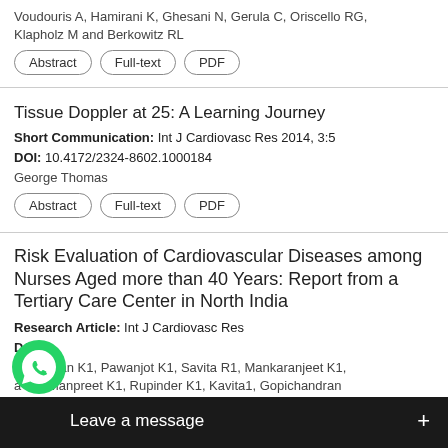Voudouris A, Hamirani K, Ghesani N, Gerula C, Oriscello RG, Klapholz M and Berkowitz RL
Abstract | Full-text | PDF
Tissue Doppler at 25: A Learning Journey
Short Communication: Int J Cardiovasc Res 2014, 3:5
DOI: 10.4172/2324-8602.1000184
George Thomas
Abstract | Full-text | PDF
Risk Evaluation of Cardiovascular Diseases among Nurses Aged more than 40 Years: Report from a Tertiary Care Center in North India
Research Article: Int J Cardiovasc Res
DOI:
Harsimran K1, Pawanjot K1, Savita R1, Mankaranjeet K1, a V1, Manpreet K1, Rupinder K1, Kavita1, Gopichandran ndamoni M1, Thahava JR